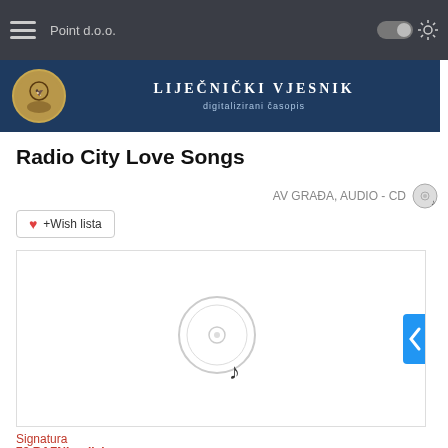Point d.o.o.
[Figure (logo): Liječnički Vjesnik digitalizirani časopis banner with circular logo]
Radio City Love Songs
AV GRAĐA, AUDIO - CD
+Wish lista
[Figure (illustration): CD disc with music note icon placeholder image]
Signatura
78 RAZNI radicls